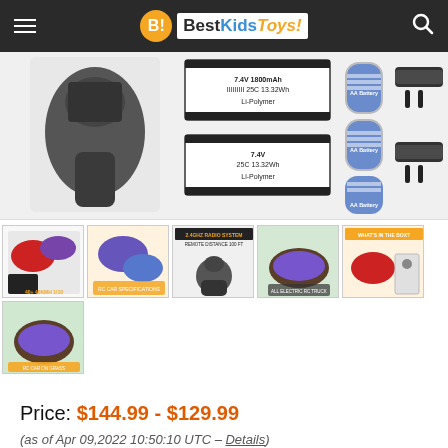BestKidsToys!
[Figure (photo): RC car product main image strip showing remote controller, battery labels, AA batteries, and cable connectors]
[Figure (photo): Grid of 6 thumbnail product images showing RC car from various angles and features]
Price: $144.99 - $129.99
(as of Apr 09,2022 10:50:10 UTC – Details)